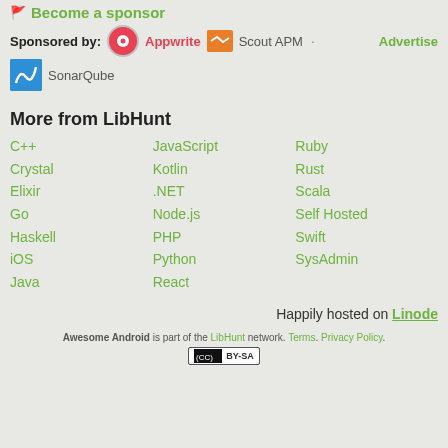🚩 Become a sponsor
Sponsored by: Appwrite · Scout APM · SonarQube    Advertise
More from LibHunt
C++
JavaScript
Ruby
Crystal
Kotlin
Rust
Elixir
.NET
Scala
Go
Node.js
Self Hosted
Haskell
PHP
Swift
iOS
Python
SysAdmin
Java
React
Happily hosted on Linode
Awesome Android is part of the LibHunt network. Terms. Privacy Policy.
[Figure (logo): Creative Commons BY-SA license badge]